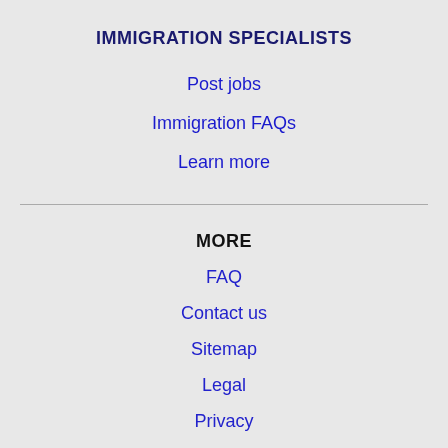IMMIGRATION SPECIALISTS
Post jobs
Immigration FAQs
Learn more
MORE
FAQ
Contact us
Sitemap
Legal
Privacy
NEARBY CITIES
Bountiful, UT Jobs
Draper, UT Jobs
Layton, UT Jobs